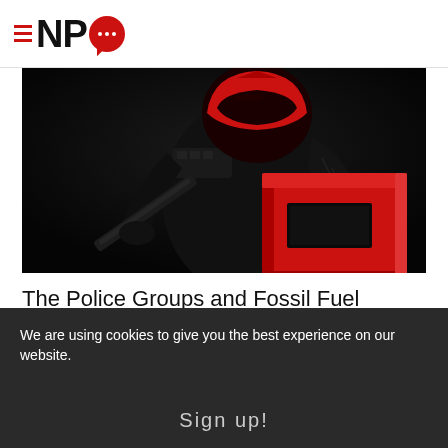NPQ
[Figure (photo): A soldier or tactical figure in black gear and a red helmet/mask, holding a weapon, carrying a bright red box/crate with rectangular cutouts, against a dark background.]
The Police Groups and Fossil Fuel Corporations Lobbying to...
Connor Gibson
We are using cookies to give you the best experience on our website.
Sign up!